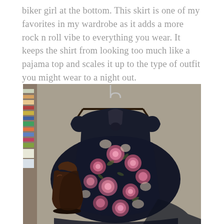biker girl at the bottom. This skirt is one of my favorites in my wardrobe as it adds a more rock n roll vibe to everything you wear. It keeps the shirt from looking too much like a pajama top and scales it up to the type of outfit you might wear to a night out.
[Figure (photo): A floral dark navy dress laid flat on a carpet, displayed on a hanger. The dress has pink and cream flowers on a dark background. A pair of dark brown leather ankle boots/booties is placed on the left side of the dress. In the background on the left, colorful items (possibly books or fabric) are visible on a shelf.]